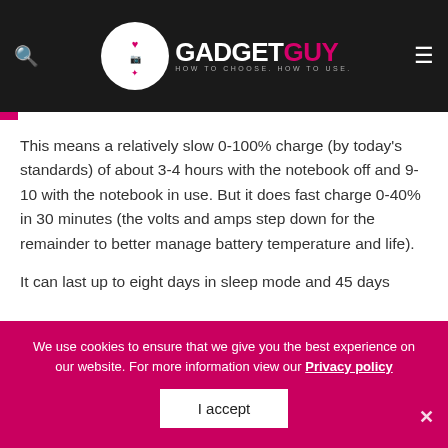GADGETGUY — HOW TO CHOOSE. HOW TO USE.
This means a relatively slow 0-100% charge (by today's standards) of about 3-4 hours with the notebook off and 9-10 with the notebook in use. But it does fast charge 0-40% in 30 minutes (the volts and amps step down for the remainder to better manage battery temperature and life).
It can last up to eight days in sleep mode and 45 days
We use cookies to ensure that we give you the best experience on our website. For more information view our Privacy policy
I accept